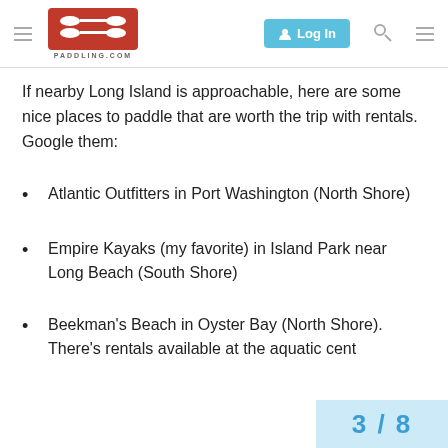PADDLING.COM — Log In
If nearby Long Island is approachable, here are some nice places to paddle that are worth the trip with rentals. Google them:
Atlantic Outfitters in Port Washington (North Shore)
Empire Kayaks (my favorite) in Island Park near Long Beach (South Shore)
Beekman's Beach in Oyster Bay (North Shore). There's rentals available at the aquatic cent
3 / 8